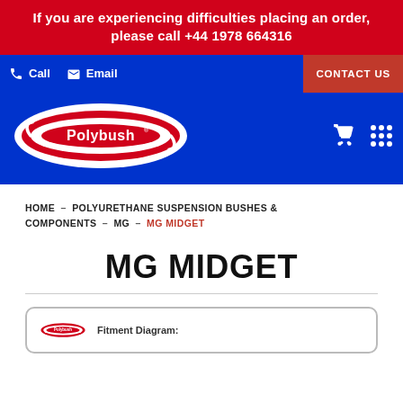If you are experiencing difficulties placing an order, please call +44 1978 664316
[Figure (logo): Polybush website navigation bar with Call, Email, Contact Us buttons and Polybush logo on blue background]
HOME — POLYURETHANE SUSPENSION BUSHES & COMPONENTS — MG — MG MIDGET
MG MIDGET
[Figure (screenshot): Partial view of a Polybush product card with logo and Fitment Diagram label]